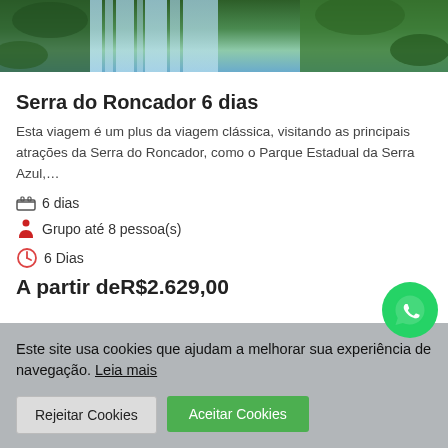[Figure (photo): Waterfall with lush green vegetation — Serra do Roncador travel package header photo]
Serra do Roncador 6 dias
Esta viagem é um plus da viagem clássica, visitando as principais atrações da Serra do Roncador, como o Parque Estadual da Serra Azul,…
6 dias
Grupo até 8 pessoa(s)
6 Dias
A partir deR$2.629,00
Este site usa cookies que ajudam a melhorar sua experiência de navegação. Leia mais
Rejeitar Cookies
Aceitar Cookies